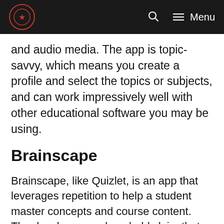Menu
and audio media. The app is topic-savvy, which means you create a profile and select the topics or subjects, and can work impressively well with other educational software you may be using.
Brainscape
Brainscape, like Quizlet, is an app that leverages repetition to help a student master concepts and course content. The developers make a bold claim that their flashcards can double a student's learning speed and help them retain whatever they learn more effectively. It features:
Browser mode to peruse through the cloud and offline content